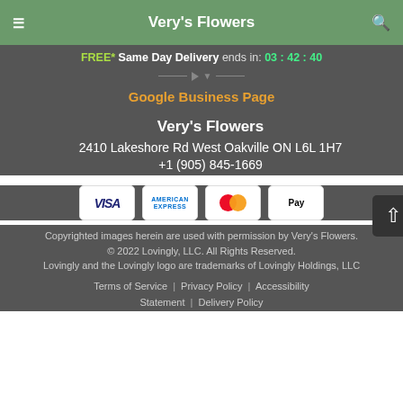Very's Flowers
FREE* Same Day Delivery ends in: 03 : 42 : 40
Google Business Page
Very's Flowers
2410 Lakeshore Rd West Oakville ON L6L 1H7
+1 (905) 845-1669
[Figure (other): Payment method icons: Visa, American Express, Mastercard, Apple Pay]
Copyrighted images herein are used with permission by Very's Flowers.
© 2022 Lovingly, LLC. All Rights Reserved.
Lovingly and the Lovingly logo are trademarks of Lovingly Holdings, LLC
Terms of Service | Privacy Policy | Accessibility Statement | Delivery Policy